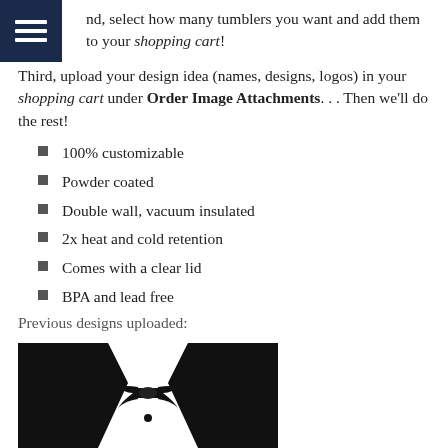nd, select how many tumblers you want and add them to your shopping cart!
Third, upload your design idea (names, designs, logos) in your shopping cart under Order Image Attachments... Then we'll do the rest!
100% customizable
Powder coated
Double wall, vacuum insulated
2x heat and cold retention
Comes with a clear lid
BPA and lead free
Previous designs uploaded:
[Figure (illustration): Black and white tuxedo / bow tie illustration (torso with jacket lapels and bow tie)]